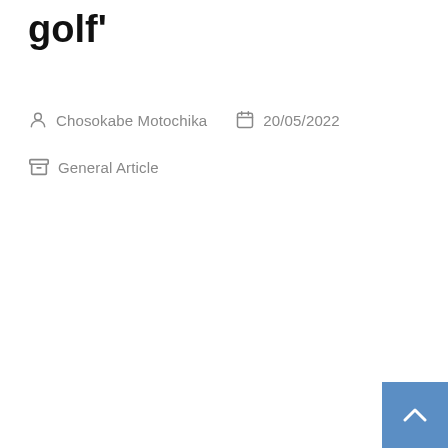golf'
Chosokabe Motochika  20/05/2022
General Article